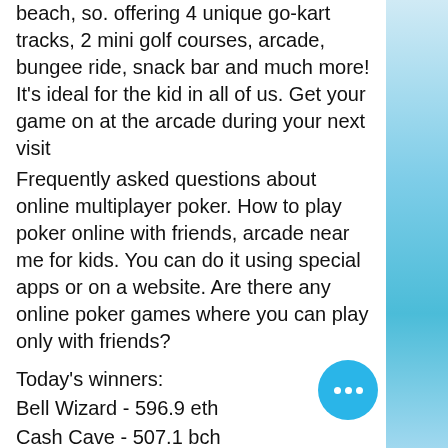beach, so. offering 4 unique go-kart tracks, 2 mini golf courses, arcade, bungee ride, snack bar and much more! It's ideal for the kid in all of us. Get your game on at the arcade during your next visit
Frequently asked questions about online multiplayer poker. How to play poker online with friends, arcade near me for kids. You can do it using special apps or on a website. Are there any online poker games where you can play only with friends?
Today's winners:
Bell Wizard - 596.9 eth
Cash Cave - 507.1 bch
Fruits of the Nile - 400 usdt
Crazy Monkey - 491.6 eth
Wild Rubies - 732.2 eth
Party Time - 643.4 eth
Vikings Mega Reels - 154.6 btc
The Monkey King - 145.1 dog
Big Bad Wolf - 598.4 btc